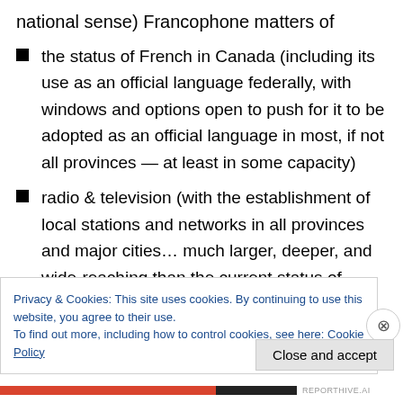national sense) Francophone matters of
the status of French in Canada (including its use as an official language federally, with windows and options open to push for it to be adopted as an official language in most, if not all provinces — at least in some capacity)
radio & television (with the establishment of local stations and networks in all provinces and major cities… much larger, deeper, and wide-reaching than the current status of Radio-Canada),
Privacy & Cookies: This site uses cookies. By continuing to use this website, you agree to their use. To find out more, including how to control cookies, see here: Cookie Policy